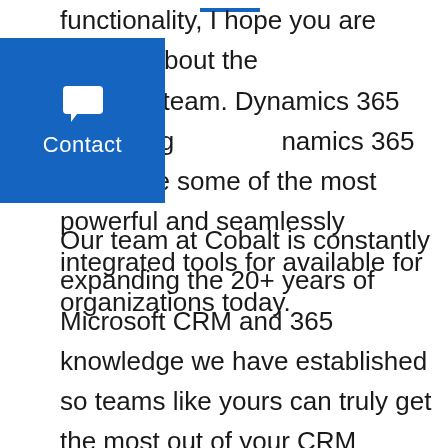[Figure (other): Blue contact widget button with speech bubble icon and 'Contact' label]
functionality, I hope you are excited about the ilities for team. Dynamics 365 Marketing namics 365 Sales are some of the most powerful and seamlessly integrated tools for available for organizations today.
Our team at Cobalt is constantly expanding the 20+ years of Microsoft CRM and 365 knowledge we have established so teams like yours can truly get the most out of your CRM investment. I would love to help you see additional ways to use Microsoft Marketing Forms and Customer Journeys in Dynamics 365 Marketing. Send me your questions, comments